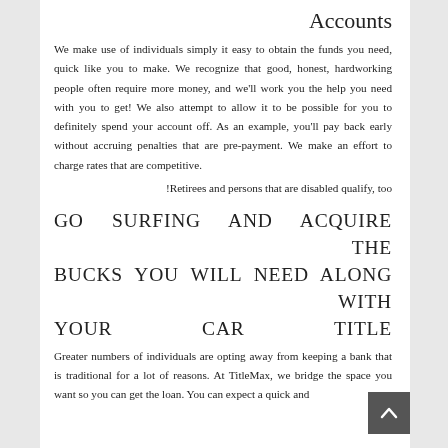Accounts
We make use of individuals simply it easy to obtain the funds you need, quick like you to make. We recognize that good, honest, hardworking people often require more money, and we'll work you the help you need with you to get! We also attempt to allow it to be possible for you to definitely spend your account off. As an example, you'll pay back early without accruing penalties that are pre-payment. We make an effort to charge rates that are competitive. !Retirees and persons that are disabled qualify, too
GO SURFING AND ACQUIRE THE BUCKS YOU WILL NEED ALONG WITH YOUR CAR TITLE
Greater numbers of individuals are opting away from keeping a bank that is traditional for a lot of reasons. At TitleMax, we bridge the space you want so you can get the loan. You can expect a quick and